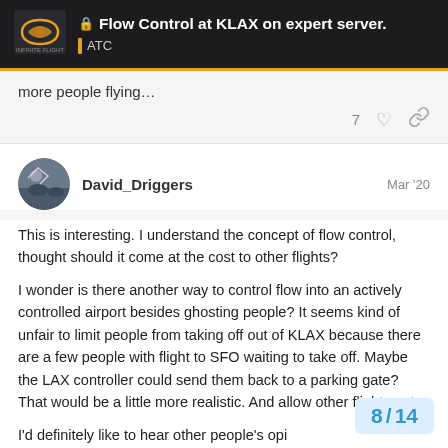Flow Control at KLAX on expert server. | ATC
more people flying…
7 ♡ 🔗
David_Driggers  Mar '20
This is interesting. I understand the concept of flow control, thought should it come at the cost to other flights?

I wonder is there another way to control flow into an actively controlled airport besides ghosting people? It seems kind of unfair to limit people from taking off out of KLAX because there are a few people with flight to SFO waiting to take off. Maybe the LAX controller could send them back to a parking gate? That would be a little more realistic. And allow other flights out.

I'd definitely like to hear other people's opi It's intriguing.